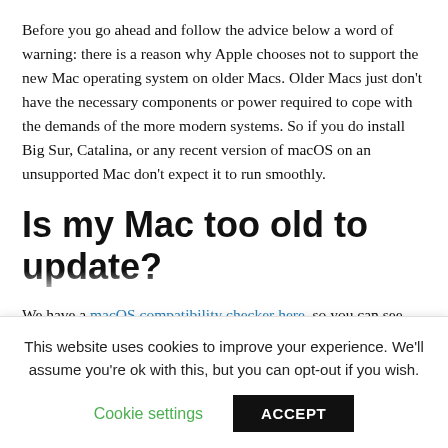Before you go ahead and follow the advice below a word of warning: there is a reason why Apple chooses not to support the new Mac operating system on older Macs. Older Macs just don't have the necessary components or power required to cope with the demands of the more modern systems. So if you do install Big Sur, Catalina, or any recent version of macOS on an unsupported Mac don't expect it to run smoothly.
Is my Mac too old to update?
We have a macOS compatibility checker here, so you can see which versions of macOS your Mac should be able to run.
Here's an overview of the Macs that will run Big Sur, according
This website uses cookies to improve your experience. We'll assume you're ok with this, but you can opt-out if you wish.
Cookie settings   ACCEPT